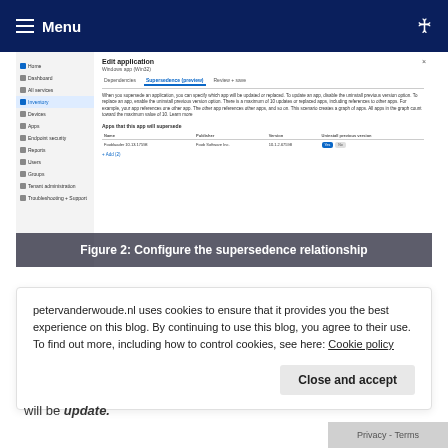≡ Menu
[Figure (screenshot): Screenshot of Microsoft Intune Edit application dialog showing the Supersedence (preview) tab with a table listing 'Fooblaader 10.13.17598' app with Pub Michael, Version 10.1.2.67598, and Uninstall previous version toggle set to Yes.]
Figure 2: Configure the supersedence relationship
petervanderwoude.nl uses cookies to ensure that it provides you the best experience on this blog. By continuing to use this blog, you agree to their use. To find out more, including how to control cookies, see here: Cookie policy
will be update.
Privacy - Terms